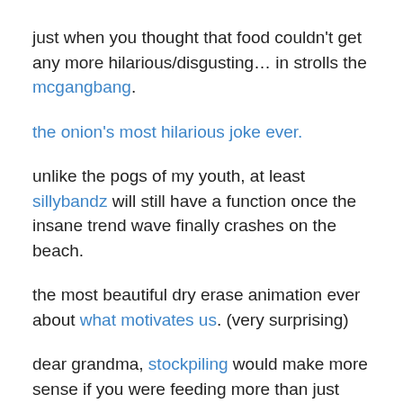just when you thought that food couldn't get any more hilarious/disgusting… in strolls the mcgangbang.
the onion's most hilarious joke ever.
unlike the pogs of my youth, at least sillybandz will still have a function once the insane trend wave finally crashes on the beach.
the most beautiful dry erase animation ever about what motivates us. (very surprising)
dear grandma, stockpiling would make more sense if you were feeding more than just you and grandpa. plus, this expired salad dressing is gross.
if you don't want me to make fun of you, you might want to stop leaving me these passive aggressive notes.